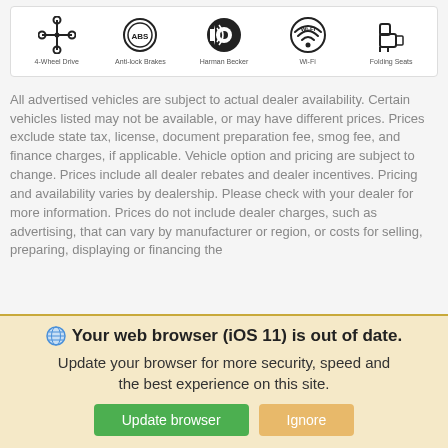[Figure (infographic): Key features icons row: 4-Wheel Drive, Anti-lock Brakes, Harman Becker, Wi-Fi, Folding Seats]
All advertised vehicles are subject to actual dealer availability. Certain vehicles listed may not be available, or may have different prices. Prices exclude state tax, license, document preparation fee, smog fee, and finance charges, if applicable. Vehicle option and pricing are subject to change. Prices include all dealer rebates and dealer incentives. Pricing and availability varies by dealership. Please check with your dealer for more information. Prices do not include dealer charges, such as advertising, that can vary by manufacturer or region, or costs for selling, preparing, displaying or financing the
Your web browser (iOS 11) is out of date. Update your browser for more security, speed and the best experience on this site.